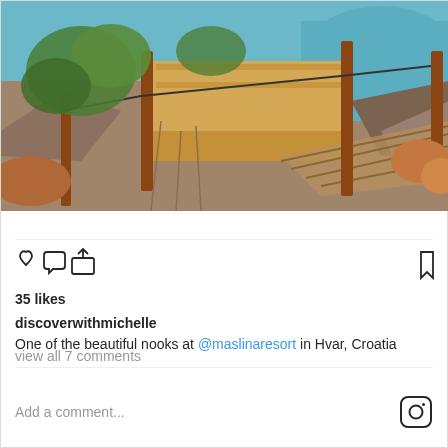[Figure (photo): Wooden deck/platform structure by rocky seaside with blue water and greenery, at Maslina Resort in Hvar, Croatia]
View more on Instagram
35 likes
discoverwithmichelle
One of the beautiful nooks at @maslinaresort in Hvar, Croatia
view all 7 comments
Add a comment...